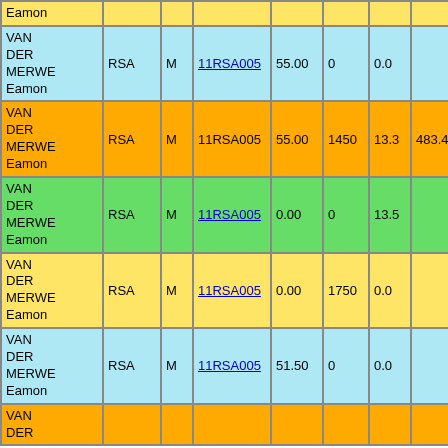| Name | Country | Sex | Code | Val1 | Val2 | Val3 | Val4 | Year |
| --- | --- | --- | --- | --- | --- | --- | --- | --- |
| VAN DER MERWE Eamon |  |  |  |  |  |  |  |  |
| VAN DER MERWE Eamon | RSA | M | 11RSA005 | 55.00 | 0 | 0.0 |  | 1996 |
| VAN DER MERWE Eamon | RSA | M | 11RSA005 | 55.00 | 1450 | 13.3 | 483.43 | 1996 |
| VAN DER MERWE Eamon | RSA | M | 11RSA005 | 0.00 | 0 | 13.5 |  | 1996 |
| VAN DER MERWE Eamon | RSA | M | 11RSA005 | 0.00 | 1750 | 0.0 |  | 1996 |
| VAN DER MERWE Eamon | RSA | M | 11RSA005 | 51.50 | 0 | 0.0 |  | 1996 |
| VAN DER MERWE Eamon |  |  |  |  |  |  |  |  |